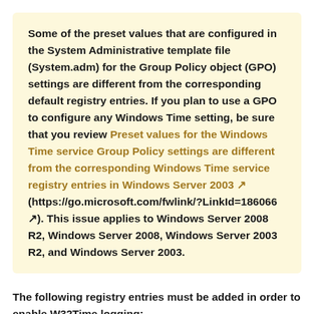Some of the preset values that are configured in the System Administrative template file (System.adm) for the Group Policy object (GPO) settings are different from the corresponding default registry entries. If you plan to use a GPO to configure any Windows Time setting, be sure that you review Preset values for the Windows Time service Group Policy settings are different from the corresponding Windows Time service registry entries in Windows Server 2003 (https://go.microsoft.com/fwlink/?LinkId=186066). This issue applies to Windows Server 2008 R2, Windows Server 2008, Windows Server 2003 R2, and Windows Server 2003.
The following registry entries must be added in order to enable W32Time logging: